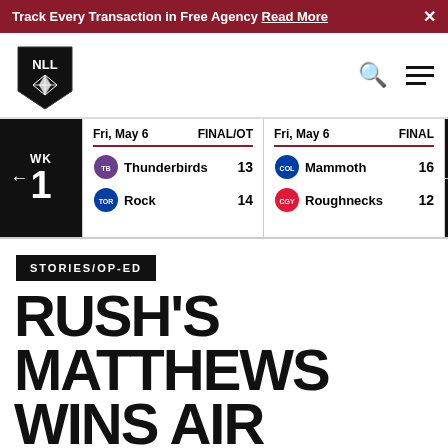Track Every Transaction in Free Agency Read More
[Figure (logo): NLL (National Lacrosse League) shield logo with star]
| Date | Status | Team | Score |
| --- | --- | --- | --- |
| Fri, May 6 | FINAL/OT | Thunderbirds | 13 |
| Fri, May 6 | FINAL/OT | Rock | 14 |
| Fri, May 6 | FINAL | Mammoth | 16 |
| Fri, May 6 | FINAL | Roughnecks | 12 |
STORIES/OP-ED
RUSH'S MATTHEWS WINS AIR CANADA